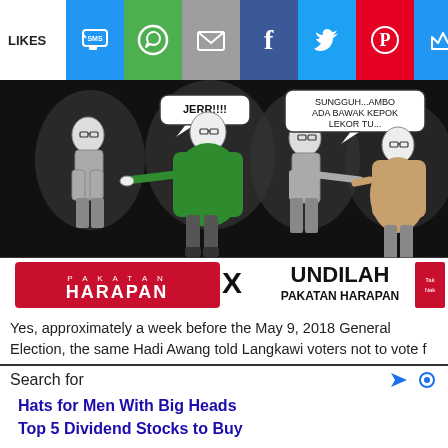LIKES | [social share icons: SMS, WhatsApp, Email, Facebook, Twitter, Pinterest, Crown]
[Figure (illustration): Political cartoon on black background showing four figures: two on the left confronting each other with speech bubble 'JERR!!!!' and two on the right shaking hands with speech bubble 'SUNGGUH...AMBO ADA BAWAK KEPOK LEKOR TU...' Below cartoon is Pakatan Harapan logo with 'X UNDILAH PAKATAN HARAPAN' text.]
Yes, approximately a week before the May 9, 2018 General Election, the same Hadi Awang told Langkawi voters not to vote f
Search for | [icons]
Hats for Men With Big Heads
Top 5 Dividend Stocks to Buy